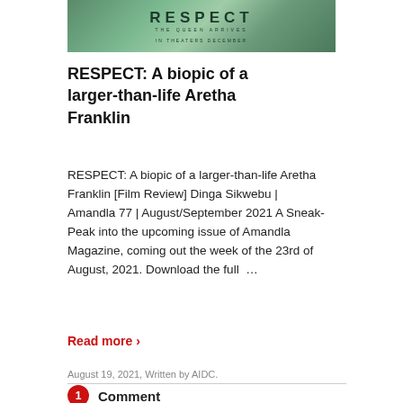[Figure (photo): Movie poster/banner for RESPECT film showing text 'RESPECT THE QUEEN ARRIVES IN THEATERS DECEMBER' on a green textured background]
RESPECT: A biopic of a larger-than-life Aretha Franklin
RESPECT: A biopic of a larger-than-life Aretha Franklin [Film Review] Dinga Sikwebu | Amandla 77 | August/September 2021 A Sneak-Peak into the upcoming issue of Amandla Magazine, coming out the week of the 23rd of August, 2021. Download the full …
Read more ›
August 19, 2021, Written by AIDC.
1 Comment